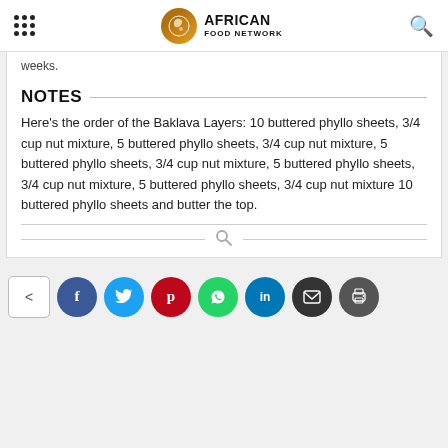AFRICAN FOOD NETWORK
weeks.
NOTES
Here's the order of the Baklava Layers: 10 buttered phyllo sheets, 3/4 cup nut mixture, 5 buttered phyllo sheets, 3/4 cup nut mixture, 5 buttered phyllo sheets, 3/4 cup nut mixture, 5 buttered phyllo sheets, 3/4 cup nut mixture, 5 buttered phyllo sheets, 3/4 cup nut mixture 10 buttered phyllo sheets and butter the top.